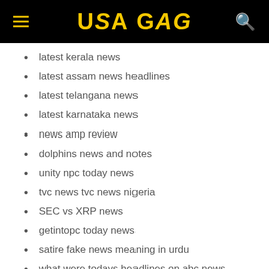USA GAG
latest kerala news
latest assam news headlines
latest telangana news
latest karnataka news
news amp review
dolphins news and notes
unity npc today news
tvc news tvc news nigeria
SEC vs XRP news
getintopc today news
satire fake news meaning in urdu
what were todays headlines on abc news
nba trade news